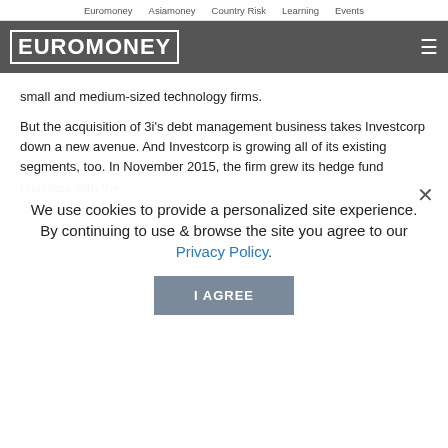Euromoney   Asiamoney   Country Risk   Learning   Events
[Figure (logo): Euromoney logo in white block letters on dark grey navigation bar with hamburger menu icon]
small and medium-sized technology firms.
But the acquisition of 3i's debt management business takes Investcorp down a new avenue. And Investcorp is growing all of its existing segments, too. In November 2015, the firm grew its hedge fund business with the acquisition of the $800 million hedge fund of funds unit of ARIS: Advanced Alternative Strategies. In early 2016, Investcorp's real estate acquisition activity in the signed; and it is in [faded] ...ing its fourth tech fund.
We use cookies to provide a personalized site experience.
By continuing to use & browse the site you agree to our Privacy Policy.
I AGREE